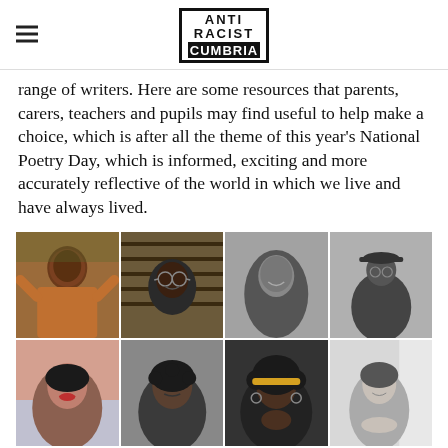Anti Racist Cumbria logo with hamburger menu
range of writers. Here are some resources that parents, carers, teachers and pupils may find useful to help make a choice, which is after all the theme of this year's National Poetry Day, which is informed, exciting and more accurately reflective of the world in which we live and have always lived.
[Figure (photo): Two rows of four portrait photographs of diverse poets and writers, shown in color and black-and-white.]